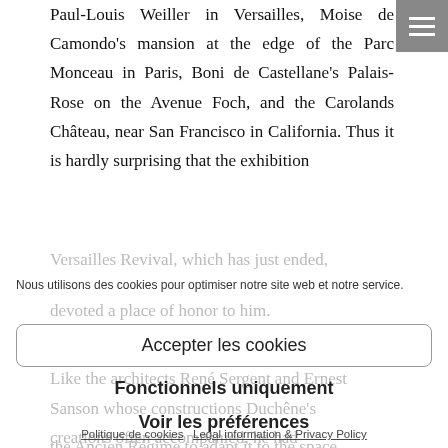Paul-Louis Weiller in Versailles, Moise de Camondo's mansion at the edge of the Parc Monceau in Paris, Boni de Castellane's Palais-Rose on the Avenue Foch, and the Carolands Château, near San Francisco in California. Thus it is hardly surprising that the exhibition
Versailles Revival, which has just ended, devoted a place of honor to him.
Nous utilisons des cookies pour optimiser notre site web et notre service.
Accepter les cookies
Like the architects René Sergent and Ernest Sanson whose constructions Duchêne's creations often accompanied, he had sufficiently mastered the artistic language of the Ancien Régime to adapt it to the space and
Fonctionnels uniquement
Voir les préférences
Politique de cookies   Legal information & Privacy Policy
Going beyond pastiche, he ornamented his